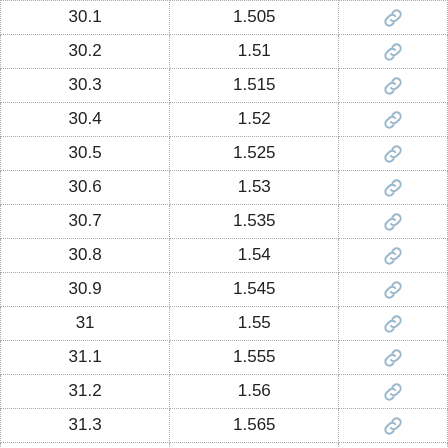| 30.1 | 1.505 | 🔗 |
| 30.2 | 1.51 | 🔗 |
| 30.3 | 1.515 | 🔗 |
| 30.4 | 1.52 | 🔗 |
| 30.5 | 1.525 | 🔗 |
| 30.6 | 1.53 | 🔗 |
| 30.7 | 1.535 | 🔗 |
| 30.8 | 1.54 | 🔗 |
| 30.9 | 1.545 | 🔗 |
| 31 | 1.55 | 🔗 |
| 31.1 | 1.555 | 🔗 |
| 31.2 | 1.56 | 🔗 |
| 31.3 | 1.565 | 🔗 |
| 31.4 | 1.57 | 🔗 |
| 31.5 | 1.575 | 🔗 |
| 31.6 | 1.58 | 🔗 |
| 31.7 | 1.585 | 🔗 |